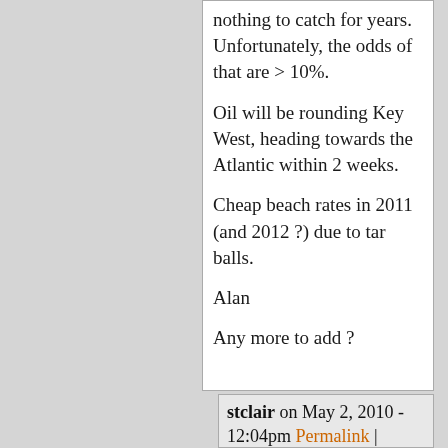nothing to catch for years. Unfortunately, the odds of that are > 10%.

Oil will be rounding Key West, heading towards the Atlantic within 2 weeks.

Cheap beach rates in 2011 (and 2012 ?) due to tar balls.

Alan

Any more to add ?
stclair on May 2, 2010 - 12:04pm Permalink | Parent | Comments top
This business about the riser extending to 1500' above the sea floor has been troubling me. If I